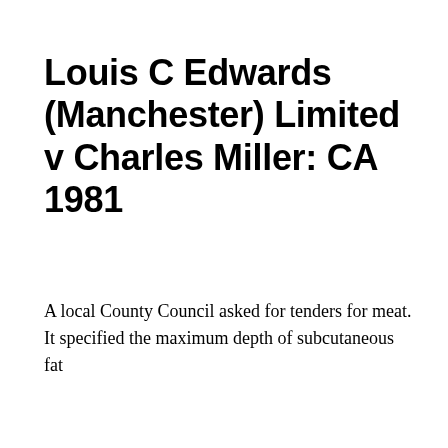Louis C Edwards (Manchester) Limited v Charles Miller: CA 1981
A local County Council asked for tenders for meat. It specified the maximum depth of subcutaneous fat